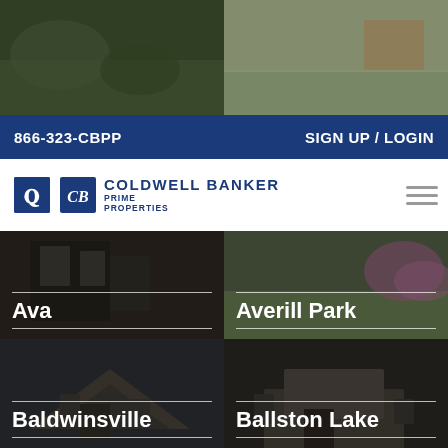[Figure (photo): Two house/property photos side by side at top of page]
866-323-CBPP   SIGN UP / LOGIN
[Figure (logo): Coldwell Banker Prime Properties logo with hamburger menu]
[Figure (photo): Ava property photo tile with location label]
[Figure (photo): Averill Park property photo tile with location label]
[Figure (photo): Baldwinsville property photo tile with location label]
[Figure (photo): Ballston Lake property photo tile with location label]